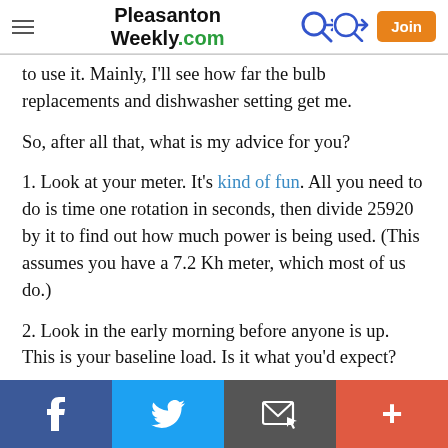Pleasanton Weekly.com
to use it. Mainly, I’ll see how far the bulb replacements and dishwasher setting get me.
So, after all that, what is my advice for you?
1. Look at your meter. It’s kind of fun. All you need to do is time one rotation in seconds, then divide 25920 by it to find out how much power is being used. (This assumes you have a 7.2 Kh meter, which most of us do.)
2. Look in the early morning before anyone is up. This is your baseline load. Is it what you’d expect?
Facebook Twitter Email Plus